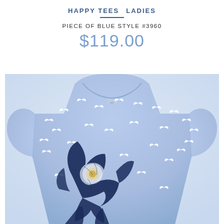HAPPY TEES   LADIES
PIECE OF BLUE STYLE #3960
$119.00
[Figure (photo): Light blue ladies t-shirt with white bird silhouettes all-over print and a dark navy blue floral graphic print on the front center/lower area. Crew neck, short sleeves. Photographed flat on a light background.]